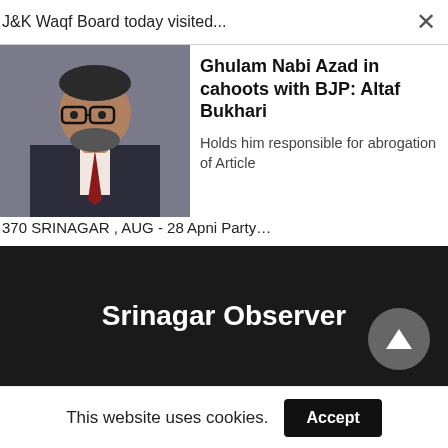J&K Waqf Board today visited...
[Figure (photo): Portrait photo of a man in a suit with glasses, sitting at a desk]
Ghulam Nabi Azad in cahoots with BJP: Altaf Bukhari
Holds him responsible for abrogation of Article 370 SRINAGAR , AUG - 28 Apni Party…
Srinagar Observer
This website uses cookies.
Accept